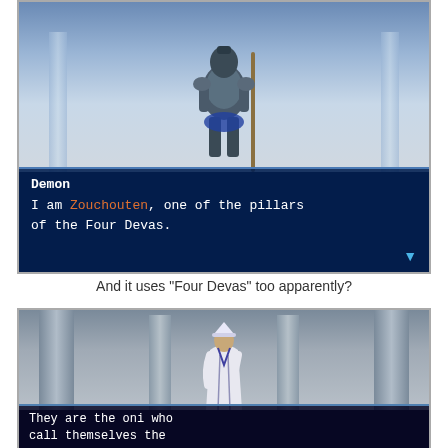[Figure (screenshot): Video game screenshot showing an armored demon character in a hall. Dialog box reads: 'Demon / I am Zouchouten, one of the pillars of the Four Devas.']
And it uses "Four Devas" too apparently?
[Figure (screenshot): Video game screenshot showing a white-robed character in a columned hall. Dialog box begins: 'They are the oni who call themselves the']